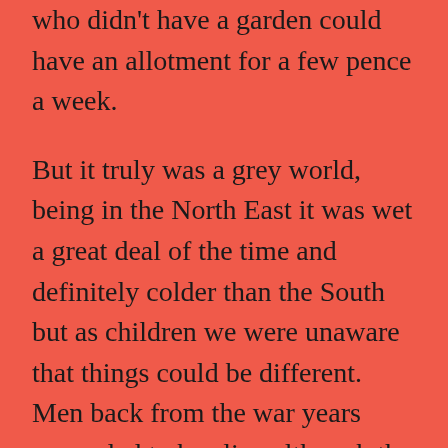who didn't have a garden could have an allotment for a few pence a week.
But it truly was a grey world, being in the North East it was wet a great deal of the time and definitely colder than the South but as children we were unaware that things could be different. Men back from the war years were glad to be alive although the physically disabled were in evidence on street corners trying to make a meagre living selling matches and other sundry items. Council houses were nothing to be ashamed of and only the really well off like doctors and lawyers could afford to own their own property. Gardens were maintained to a high standard and people took a pride in what they had, gathering at the Community Hut for